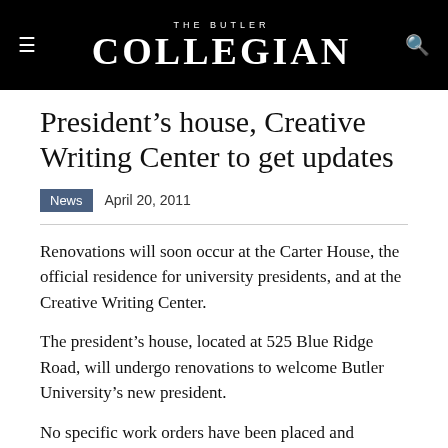THE BUTLER COLLEGIAN
President's house, Creative Writing Center to get updates
News  April 20, 2011
Renovations will soon occur at the Carter House, the official residence for university presidents, and at the Creative Writing Center.
The president's house, located at 525 Blue Ridge Road, will undergo renovations to welcome Butler University's new president.
No specific work orders have been placed and approved for the house, according to a press release from the university.
Discussion, feedback and approval have to occur with the